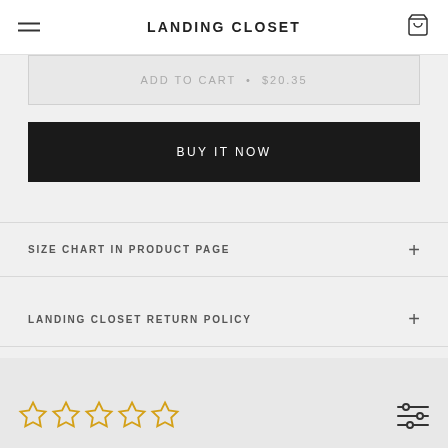LANDING CLOSET
ADD TO CART • $20.35
BUY IT NOW
SIZE CHART IN PRODUCT PAGE
LANDING CLOSET RETURN POLICY
[Figure (other): Five empty star rating icons in yellow/gold outline, and a filter/sliders icon on the right]